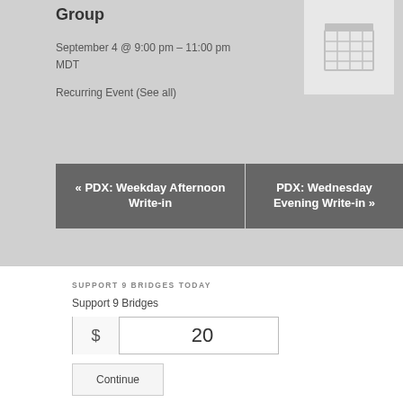Group
September 4 @ 9:00 pm – 11:00 pm MDT
Recurring Event (See all)
[Figure (illustration): Calendar icon in light grey square]
« PDX: Weekday Afternoon Write-in
PDX: Wednesday Evening Write-in »
SUPPORT 9 BRIDGES TODAY
Support 9 Bridges
$ 20
Continue